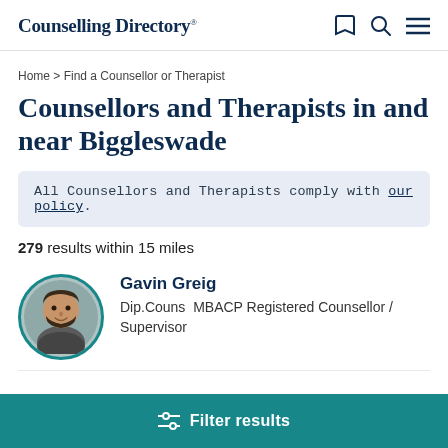Counselling Directory
Home > Find a Counsellor or Therapist
Counsellors and Therapists in and near Biggleswade
All Counsellors and Therapists comply with our policy.
279 results within 15 miles
Gavin Greig
Dip.Couns  MBACP Registered Counsellor / Supervisor
[Figure (photo): Portrait photo of Gavin Greig, a man with a beard, in a circular frame with teal border]
Filter results